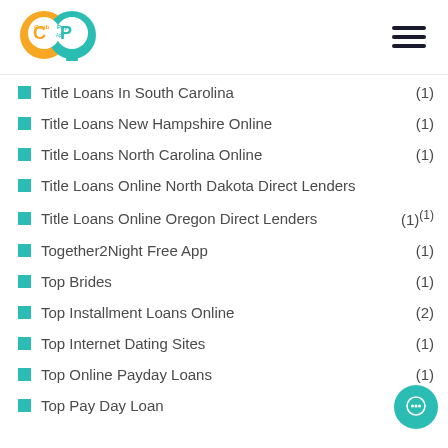[Figure (logo): Carib Pay App logo — orange and teal circular logo with 'Carib Pay App' text]
Title Loans In South Carolina (1)
Title Loans New Hampshire Online (1)
Title Loans North Carolina Online (1)
Title Loans Online North Dakota Direct Lenders
Title Loans Online Oregon Direct Lenders (1)(1)
Together2Night Free App (1)
Top Brides (1)
Top Installment Loans Online (2)
Top Internet Dating Sites (1)
Top Online Payday Loans (1)
Top Pay Day Loan (2)